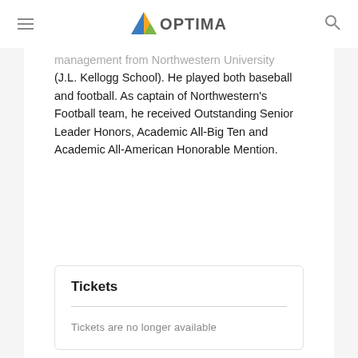OPTIMA
management from Northwestern University (J.L. Kellogg School). He played both baseball and football. As captain of Northwestern's Football team, he received Outstanding Senior Leader Honors, Academic All-Big Ten and Academic All-American Honorable Mention.
Tickets
Tickets are no longer available